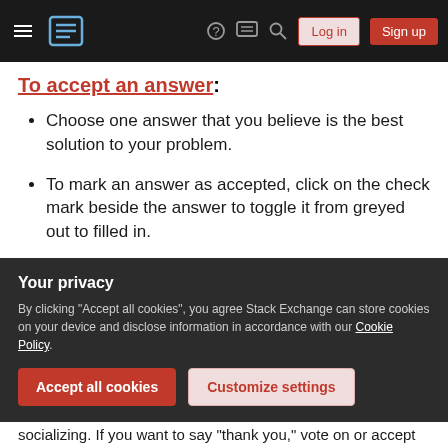Stack Exchange navigation bar with hamburger menu, logo, help icon, chat icon, search icon, Log in button, Sign up button
To accept an answer:
Choose one answer that you believe is the best solution to your problem.
To mark an answer as accepted, click on the check mark beside the answer to toggle it from greyed out to filled in.
You may change which answer is accepted, or simply un-accept the answer, at any time.
Accepting an answer is not mandatory; do not feel compelled
Your privacy
By clicking "Accept all cookies", you agree Stack Exchange can store cookies on your device and disclose information in accordance with our Cookie Policy.
socializing. If you want to say "thank you," vote on or accept